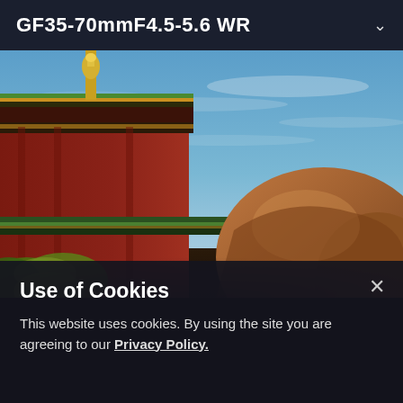GF35-70mmF4.5-5.6 WR
[Figure (photo): Outdoor photograph of a traditional Tibetan/Buddhist temple building with red walls and ornate golden roof decorations, a large brown rock or camel in the foreground right, green foliage at lower left, blue sky with light clouds in background.]
Use of Cookies
This website uses cookies. By using the site you are agreeing to our Privacy Policy.